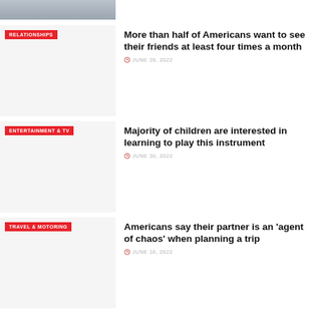[Figure (photo): Partial top image showing two people sitting, cropped at top of page]
[Figure (photo): Thumbnail image placeholder for relationships article, light gray background with RELATIONSHIPS category badge]
More than half of Americans want to see their friends at least four times a month
JUNE 28, 2022
[Figure (photo): Thumbnail image placeholder for entertainment article, light gray background with ENTERTAINMENT & TV category badge]
Majority of children are interested in learning to play this instrument
JUNE 30, 2022
[Figure (photo): Thumbnail image placeholder for travel article, light gray background with TRAVEL & MOTORING category badge]
Americans say their partner is an 'agent of chaos' when planning a trip
JUNE 16, 2022